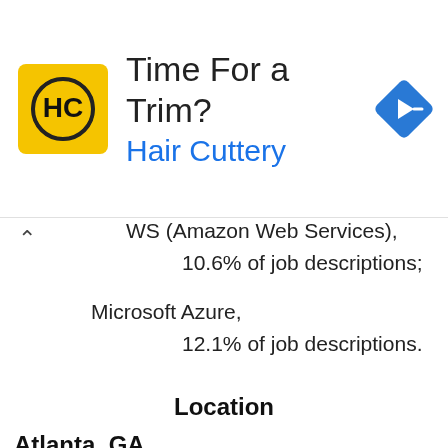[Figure (advertisement): Hair Cuttery advertisement banner with yellow HC logo, text 'Time For a Trim? Hair Cuttery', and a blue navigation diamond icon]
AWS (Amazon Web Services), 10.6% of job descriptions;
Microsoft Azure, 12.1% of job descriptions.
Location
Atlanta, GA
Georgia, Alpharetta, Atlanta, Barrow County, Bartow County, Belvedere, Brookhaven, Carroll County, Carrollton, Cartersville, Chamblee, Cherokee...